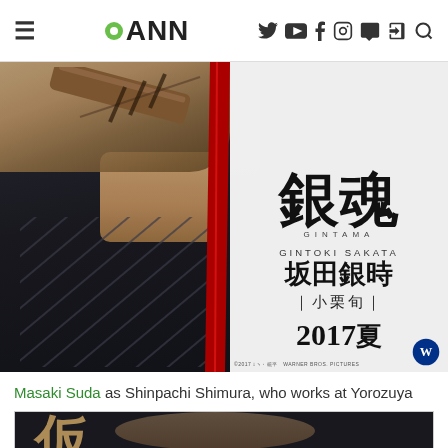≡  •ANN  🐦 ▶ f 📷 💬 ↗ 🔍
[Figure (photo): Movie poster for Gintama live-action film showing a person in a black and red leather jacket holding a wooden sword. White side panel shows large Japanese kanji 銀魂 (Gintama), GINTOKI SAKATA, 坂田銀時, |小栗旬|, 2017夏. Warner Bros. Pictures logo at bottom right.]
Masaki Suda as Shinpachi Shimura, who works at Yorozuya
[Figure (photo): Bottom strip showing partial view of another Gintama character poster with Japanese calligraphy visible.]